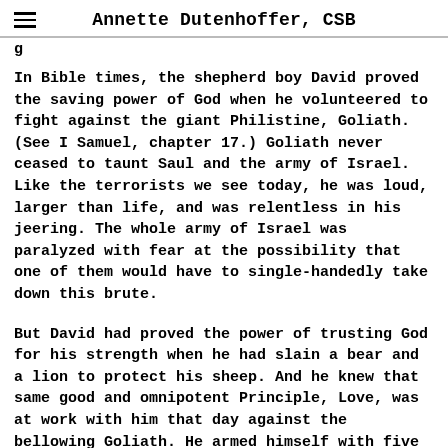Annette Dutenhoffer, CSB
In Bible times, the shepherd boy David proved the saving power of God when he volunteered to fight against the giant Philistine, Goliath. (See I Samuel, chapter 17.) Goliath never ceased to taunt Saul and the army of Israel. Like the terrorists we see today, he was loud, larger than life, and was relentless in his jeering. The whole army of Israel was paralyzed with fear at the possibility that one of them would have to single-handedly take down this brute.
But David had proved the power of trusting God for his strength when he had slain a bear and a lion to protect his sheep. And he knew that same good and omnipotent Principle, Love, was at work with him that day against the bellowing Goliath. He armed himself with five smooth stones, his slingshot, and the understanding that anything that defied God's goodness couldn't stand.